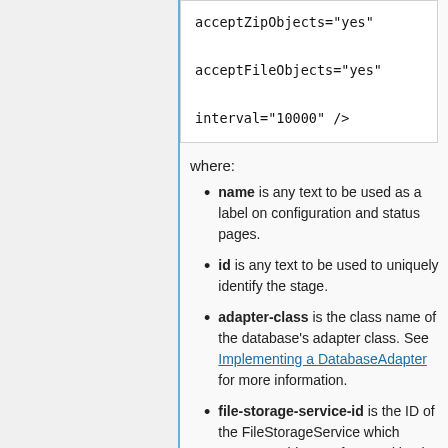acceptZipObjects="yes"

acceptFileObjects="yes"

interval="10000" />
where:
name is any text to be used as a label on configuration and status pages.
id is any text to be used to uniquely identify the stage.
adapter-class is the class name of the database's adapter class. See Implementing a DatabaseAdapter for more information.
file-storage-service-id is the ID of the FileStorageService which manages objects referenced by the data stored in the database. This